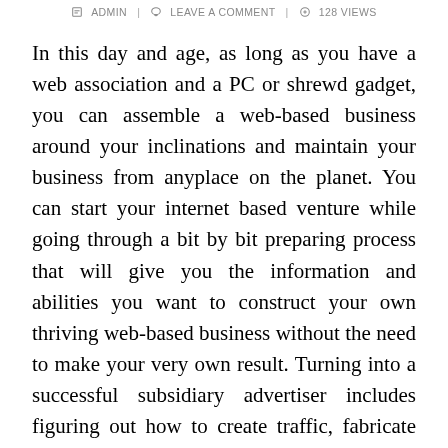ADMIN | LEAVE A COMMENT | 128 VIEWS
In this day and age, as long as you have a web association and a PC or shrewd gadget, you can assemble a web-based business around your inclinations and maintain your business from anyplace on the planet. You can start your internet based venture while going through a bit by bit preparing process that will give you the information and abilities you want to construct your own thriving web-based business without the need to make your very own result. Turning into a successful subsidiary advertiser includes figuring out how to create traffic, fabricate profoundly designated supporter records, speak with imminent clients, assemble sites, and advance great items various all media stages that reach from low to high-ticket. Many associate